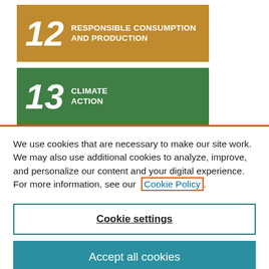[Figure (infographic): UN SDG Goal 12 banner: gold/brown background with number 12 and text RESPONSIBLE CONSUMPTION AND PRODUCTION in white]
[Figure (infographic): UN SDG Goal 13 banner: green background with number 13 and text CLIMATE ACTION in white, partially cropped]
We use cookies that are necessary to make our site work. We may also use additional cookies to analyze, improve, and personalize our content and your digital experience. For more information, see our Cookie Policy.
Cookie settings
Accept all cookies